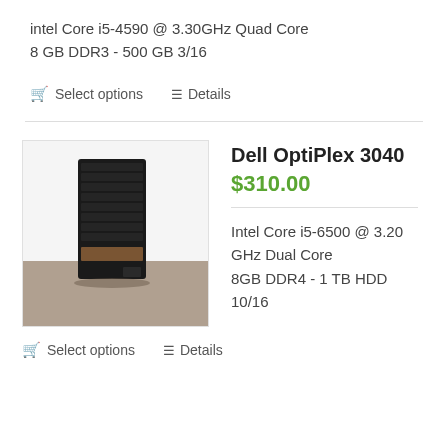intel Core i5-4590 @ 3.30GHz Quad Core
8 GB DDR3 - 500 GB 3/16
Select options   Details
[Figure (photo): Dell OptiPlex 3040 desktop tower computer, black, shown against white wall background on grey surface]
Dell OptiPlex 3040
$310.00
Intel Core i5-6500 @ 3.20 GHz Dual Core
8GB DDR4 - 1 TB HDD 10/16
Select options   Details